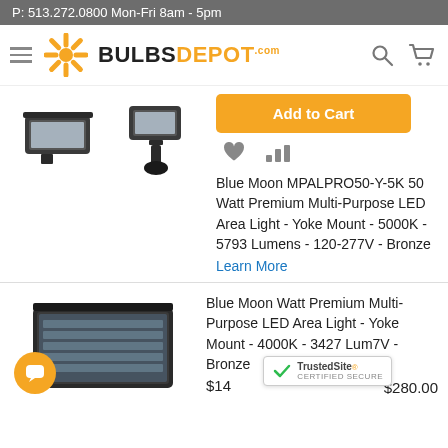P: 513.272.0800 Mon-Fri 8am - 5pm
[Figure (logo): BulbsDepot.com logo with orange starburst/snowflake icon and hamburger menu, search and cart icons]
[Figure (photo): LED area light product images - front view and yoke mount view]
Add to Cart
Blue Moon MPALPRO50-Y-5K 50 Watt Premium Multi-Purpose LED Area Light - Yoke Mount - 5000K - 5793 Lumens - 120-277V - Bronze
Learn More
[Figure (photo): Second LED area light product image with chat bubble icon overlay]
Blue Moon Watt Premium Multi-Purpose LED Area Light - Yoke Mount - 4000K - 3427 Lumens - 120-277V - Bronze
[Figure (other): TrustedSite Certified Secure badge]